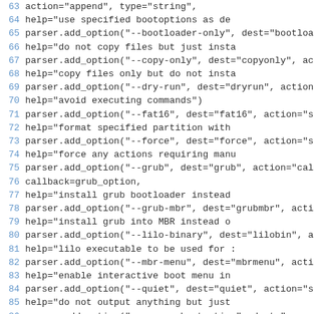[Figure (screenshot): Source code listing showing Python parser.add_option() calls for a command-line tool, lines 63-89, with blue line numbers and monospace code text on white background.]